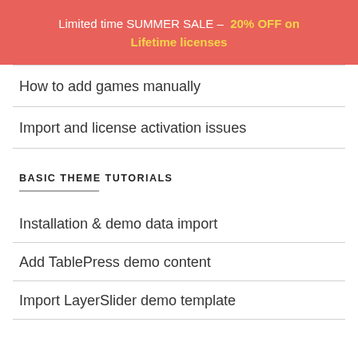Limited time SUMMER SALE – 20% OFF on Lifetime licenses
How to add games manually
Import and license activation issues
BASIC THEME TUTORIALS
Installation & demo data import
Add TablePress demo content
Import LayerSlider demo template